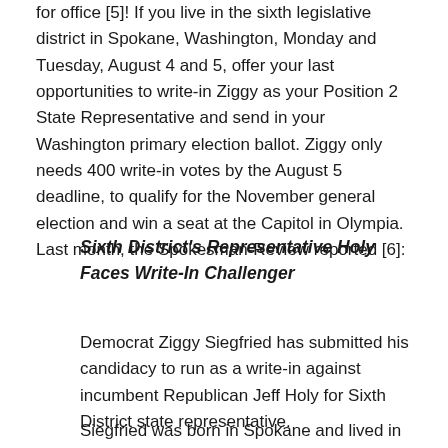for office [5]!  If you live in the sixth legislative district in Spokane, Washington, Monday and Tuesday, August 4 and 5, offer your last opportunities to write-in Ziggy as your Position 2 State Representative and send in your Washington primary election ballot.  Ziggy only needs 400 write-in votes by the August 5 deadline, to qualify for the November general election and win a seat at the Capitol in Olympia.  Last month, the Spokesman-Review reported [6]:
Sixth District's Representative Holy Faces Write-In Challenger
Democrat Ziggy Siegfried has submitted his candidacy to run as a write-in against incumbent Republican Jeff Holy for Sixth District state representative.
Siegfried was born in Spokane and lived in Seattle for